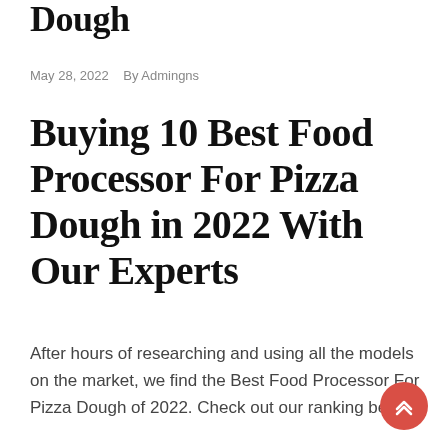Dough
May 28, 2022   By Admingns
Buying 10 Best Food Processor For Pizza Dough in 2022 With Our Experts
After hours of researching and using all the models on the market, we find the Best Food Processor For Pizza Dough of 2022. Check out our ranking below!